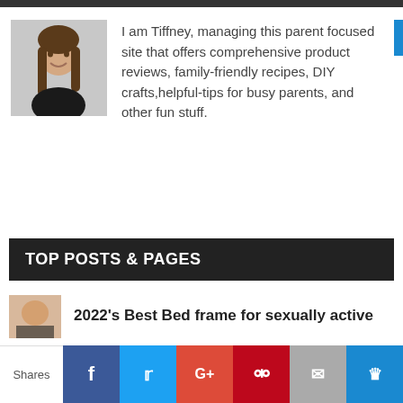[Figure (photo): Dark top navigation bar at the top of the page]
[Figure (photo): Profile photo of Tiffney, a woman with brown hair smiling]
I am Tiffney, managing this parent focused site that offers comprehensive product reviews, family-friendly recipes, DIY crafts,helpful-tips for busy parents, and other fun stuff.
TOP POSTS & PAGES
[Figure (photo): Thumbnail image for the post about best bed frames]
2022's Best Bed frame for sexually active
Shares | Facebook | Twitter | Google+ | Pinterest | Email | Crown